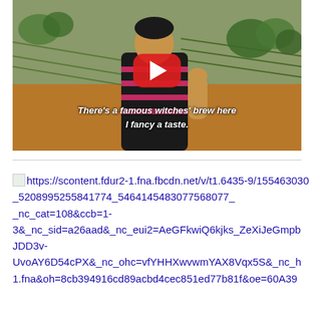[Figure (screenshot): A YouTube video thumbnail showing a man in a pink and black striped polo shirt standing outdoors in what appears to be a vineyard or orchard. A red YouTube play button is overlaid in the center. Subtitle text reads: There's a famous witches' brew here I fancy a taste.]
https://scontent.fdur2-1.fna.fbcdn.net/v/t1.6435-9/155463030_5208995255841774_5464145483077568077_n.jpg?_nc_cat=108&ccb=1-3&_nc_sid=a26aad&_nc_eui2=AeGFkwiQ6kjks_ZeXiJeGmpbJDD3v-UvoAY6D54cPX&_nc_ohc=vfYHHXwvwmYAX8Vqx5S&_nc_ht=scontent.fdur2-1.fna&oh=8cb394916cd89acbd4cec851ed77b81f&oe=60A39